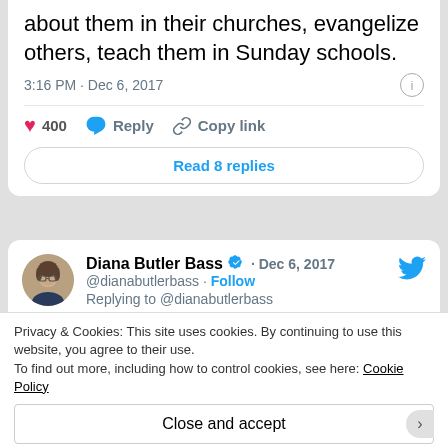about them in their churches, evangelize others, teach them in Sunday schools.
3:16 PM · Dec 6, 2017
400  Reply  Copy link
Read 8 replies
[Figure (screenshot): Twitter tweet by Diana Butler Bass (@dianabutlerbass), Dec 6, 2017, with avatar photo, verified badge, Follow link, Replying to @dianabutlerbass, tweet text: People believe this. Really believe this. Have given their lives to these ideas, sing about them in their churches, evangelize others, teach them in Sunday schools. (truncated)]
Privacy & Cookies: This site uses cookies. By continuing to use this website, you agree to their use. To find out more, including how to control cookies, see here: Cookie Policy
Close and accept